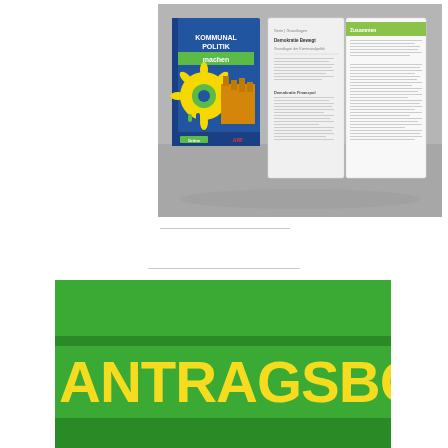[Figure (photo): Photo of a book titled 'Kommunalpolitik machen' with a blue cover featuring a sunflower and building graphics, shown next to an open spread of the book's interior pages with green highlighted sections.]
[Figure (illustration): Green banner graphic with the text 'ANTRAGSBÖRSE' in large bold yellow letters on a green background with darker green horizontal stripes.]